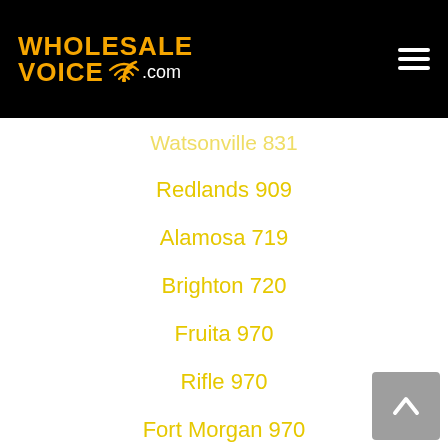WHOLESALE VOICE .com
Watsonville 831
Redlands 909
Alamosa 719
Brighton 720
Fruita 970
Rifle 970
Fort Morgan 970
Steamboat Springs 970